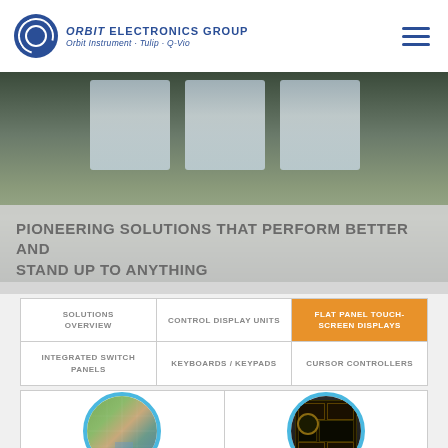ORBIT ELECTRONICS GROUP — Orbit Instrument · Tulip · Q-Vio
[Figure (photo): Cockpit interior photo of a military/aerospace vehicle viewed from the rear, showing instrument panels and windows]
PIONEERING SOLUTIONS THAT PERFORM BETTER AND STAND UP TO ANYTHING
| SOLUTIONS OVERVIEW | CONTROL DISPLAY UNITS | FLAT PANEL TOUCH-SCREEN DISPLAYS |
| --- | --- | --- |
| INTEGRATED SWITCH PANELS | KEYBOARDS / KEYPADS | CURSOR CONTROLLERS |
[Figure (photo): Circular blue-framed product photo showing a flat panel display with a map/terrain view]
[Figure (photo): Circular blue-framed product photo showing a cockpit control display unit with amber/orange screen showing instrument data]